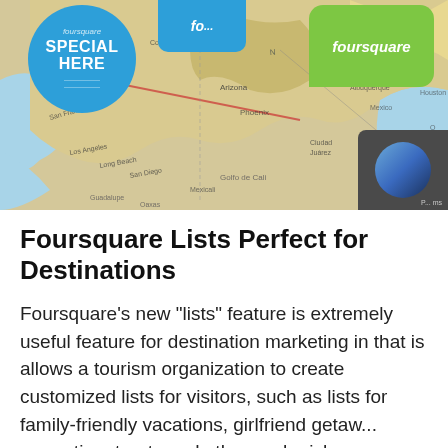[Figure (photo): A map image showing southwestern United States with Foursquare branded stickers overlaid. One blue circular sticker reads 'SPECIAL HERE', one blue speech bubble sticker at top center reads 'fo...' (foursquare), and one green rounded sticker at top right reads 'foursquare'.]
Foursquare Lists Perfect for Destinations
Foursquare’s new “lists” feature is extremely useful feature for destination marketing in that is allows a tourism organization to create customized lists for visitors, such as lists for family-friendly vacations, girlfriend getaw... romantic retreats and other such niche